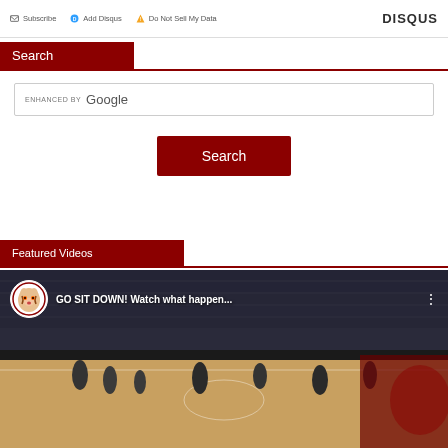Subscribe  Add Disqus  Do Not Sell My Data  DISQUS
Search
[Figure (screenshot): Google enhanced search input box]
Search
Featured Videos
[Figure (screenshot): Video thumbnail showing basketball court scene with text: GO SIT DOWN! Watch what happen...]